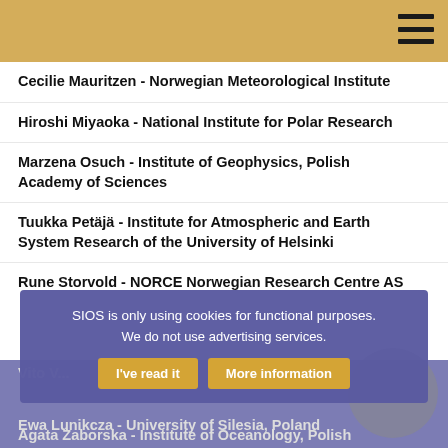Cecilie Mauritzen - Norwegian Meteorological Institute
Hiroshi Miyaoka - National Institute for Polar Research
Marzena Osuch - Institute of Geophysics, Polish Academy of Sciences
Tuukka Petäjä - Institute for Atmospheric and Earth System Research of the University of Helsinki
Rune Storvold - NORCE Norwegian Research Centre AS
Vito V... - ...
Agata Zaborska - Institute of Oceanology, Polish Academy of Science
Ewa Lunikcza - University of Silesia, Poland
SIOS is only using cookies for functional purposes.
We do not use advertising services.
I've read it   More information